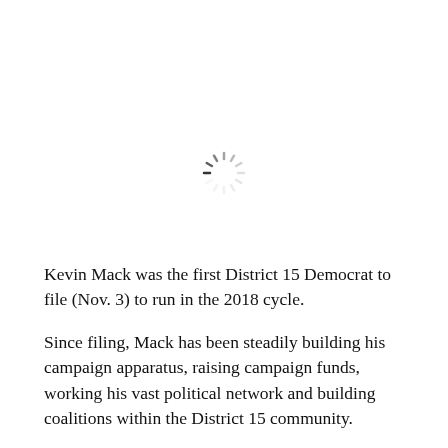[Figure (other): A loading spinner icon (circular dashed ring) centered in the upper portion of the page]
Kevin Mack was the first District 15 Democrat to file (Nov. 3) to run in the 2018 cycle.
Since filing, Mack has been steadily building his campaign apparatus, raising campaign funds, working his vast political network and building coalitions within the District 15 community.